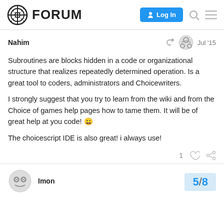FORUM — Log In
Nahim
Jul '15
Subroutines are blocks hidden in a code or organizational structure that realizes repeatedly determined operation. Is a great tool to coders, administrators and Choicewriters.

I strongly suggest that you try to learn from the wiki and from the Choice of games help pages how to tame them. It will be of great help at you code! 😀

The choicescript IDE is also great! i always use!
Imon
Jul '15
5/8